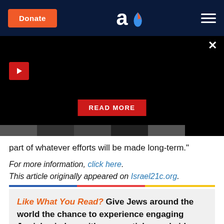Donate | Aish.com logo | Menu
[Figure (screenshot): Black video player area with red play button in top left, X close button top right, red READ MORE button in center-bottom, and a thumbnail strip at the bottom]
part of whatever efforts will be made long-term."
For more information, click here.
This article originally appeared on Israel21c.org.
Like What You Read? Give Jews around the world the chance to experience engaging Jewish wisdom with more articles and videos on Aish. It would make your mother so proud and as a